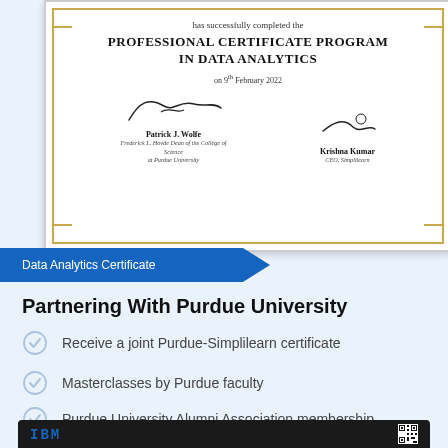[Figure (illustration): Professional Certificate from Purdue University / Simplilearn for Data Analytics program, dated 9th February 2022, signed by Patrick J. Wolfe (Frederick L. Hovde Dean of the College of Science at Purdue University) and Krishna Kumar (CEO, Simplilearn)]
Data Analytics Certificate
Partnering With Purdue University
Receive a joint Purdue-Simplilearn certificate
Masterclasses by Purdue faculty
Purdue University Alumni Association membership
[Figure (illustration): Bottom portion of an IBM certificate with IBM logo on left and QR code on right, on dark background with gold border]